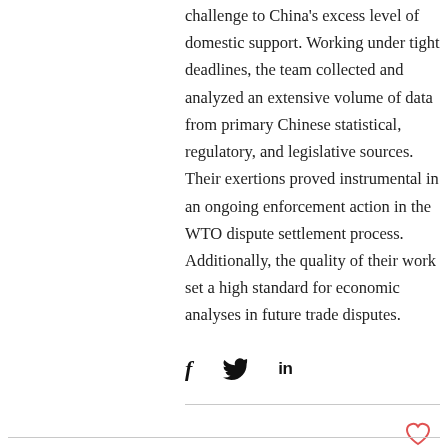challenge to China's excess level of domestic support. Working under tight deadlines, the team collected and analyzed an extensive volume of data from primary Chinese statistical, regulatory, and legislative sources. Their exertions proved instrumental in an ongoing enforcement action in the WTO dispute settlement process. Additionally, the quality of their work set a high standard for economic analyses in future trade disputes.
[Figure (infographic): Social media share icons: Facebook (f), Twitter (bird), LinkedIn (in)]
[Figure (other): Heart / like icon (outline heart in red/coral color)]